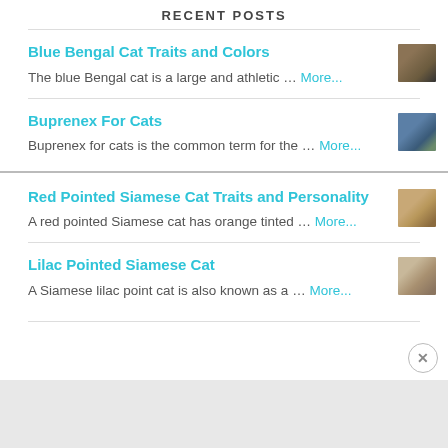RECENT POSTS
Blue Bengal Cat Traits and Colors — The blue Bengal cat is a large and athletic … More...
Buprenex For Cats — Buprenex for cats is the common term for the … More...
Red Pointed Siamese Cat Traits and Personality — A red pointed Siamese cat has orange tinted … More...
Lilac Pointed Siamese Cat — A Siamese lilac point cat is also known as a … More...